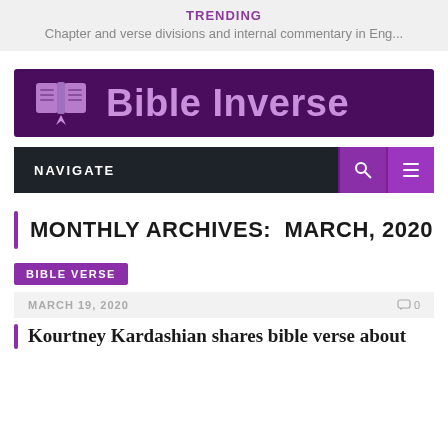TRENDING
Chapter and verse divisions and internal commentary in Eng...
[Figure (logo): Bible Inverse website logo — dark purple banner with open book icon and text 'Bible Inverse']
NAVIGATE
MONTHLY ARCHIVES: MARCH, 2020
BIBLE VERSE
MARCH 19, 2020  0
Kourtney Kardashian shares bible verse about